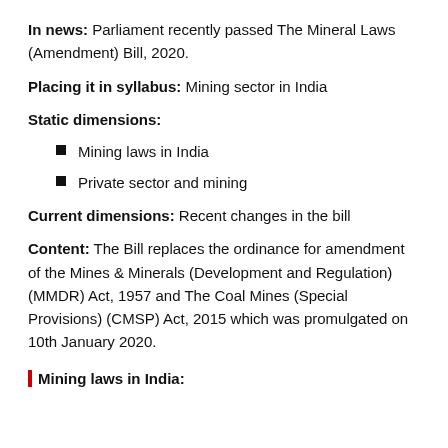In news: Parliament recently passed The Mineral Laws (Amendment) Bill, 2020.
Placing it in syllabus: Mining sector in India
Static dimensions:
Mining laws in India
Private sector and mining
Current dimensions: Recent changes in the bill
Content: The Bill replaces the ordinance for amendment of the Mines & Minerals (Development and Regulation) (MMDR) Act, 1957 and The Coal Mines (Special Provisions) (CMSP) Act, 2015 which was promulgated on 10th January 2020.
Mining laws in India: